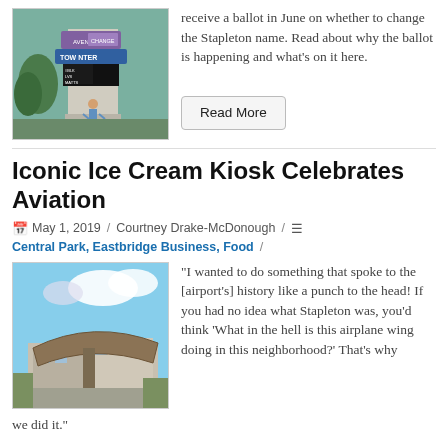[Figure (photo): A person standing in front of a monument/sign with 'AVENUE', 'TOWN CENTER', 'CHANGE THE NAME', 'BLACK LIVES MATTER' banners hung on it, surrounded by trees.]
receive a ballot in June on whether to change the Stapleton name. Read about why the ballot is happening and what's on it here.
Read More
Iconic Ice Cream Kiosk Celebrates Aviation
May 1, 2019 / Courtney Drake-McDonough / Central Park, Eastbridge Business, Food /
[Figure (photo): An airplane wing sculpture or display mounted on a structure in front of a building, with blue sky and clouds in the background.]
“I wanted to do something that spoke to the [airport’s] history like a punch to the head! If you had no idea what Stapleton was, you’d think ‘What in the hell is this airplane wing doing in this neighborhood?’ That’s why we did it.”